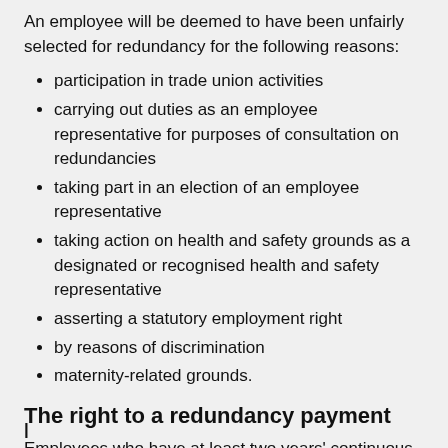An employee will be deemed to have been unfairly selected for redundancy for the following reasons:
participation in trade union activities
carrying out duties as an employee representative for purposes of consultation on redundancies
taking part in an election of an employee representative
taking action on health and safety grounds as a designated or recognised health and safety representative
asserting a statutory employment right
by reasons of discrimination
maternity-related grounds.
The right to a redundancy payment
Employees who have at least two years' continuous service qualify for a redundancy payment